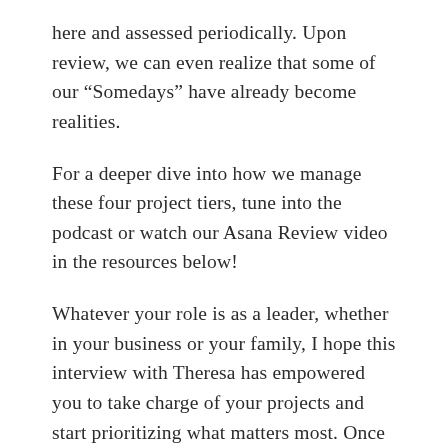here and assessed periodically. Upon review, we can even realize that some of our “Somedays” have already become realities.
For a deeper dive into how we manage these four project tiers, tune into the podcast or watch our Asana Review video in the resources below!
Whatever your role is as a leader, whether in your business or your family, I hope this interview with Theresa has empowered you to take charge of your projects and start prioritizing what matters most. Once we take the time to organize the piles, emails and tasks, we can spend the other 98% of our time living our dreams and goals!